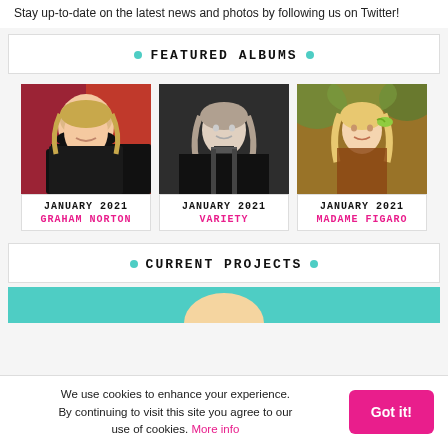Stay up-to-date on the latest news and photos by following us on Twitter!
FEATURED ALBUMS
[Figure (photo): Photo of a woman in black outfit laughing, on a red/colorful background]
[Figure (photo): Black and white photo of a woman with shoulder-length blonde hair]
[Figure (photo): Photo of a woman with blonde hair in floral/nature setting]
JANUARY 2021
GRAHAM NORTON
JANUARY 2021
VARIETY
JANUARY 2021
MADAME FIGARO
CURRENT PROJECTS
We use cookies to enhance your experience. By continuing to visit this site you agree to our use of cookies. More info